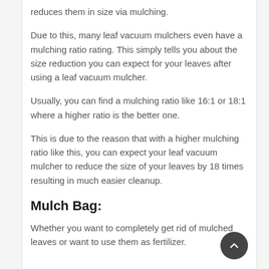reduces them in size via mulching.
Due to this, many leaf vacuum mulchers even have a mulching ratio rating. This simply tells you about the size reduction you can expect for your leaves after using a leaf vacuum mulcher.
Usually, you can find a mulching ratio like 16:1 or 18:1 where a higher ratio is the better one.
This is due to the reason that with a higher mulching ratio like this, you can expect your leaf vacuum mulcher to reduce the size of your leaves by 18 times resulting in much easier cleanup.
Mulch Bag:
Whether you want to completely get rid of mulched leaves or want to use them as fertilizer.